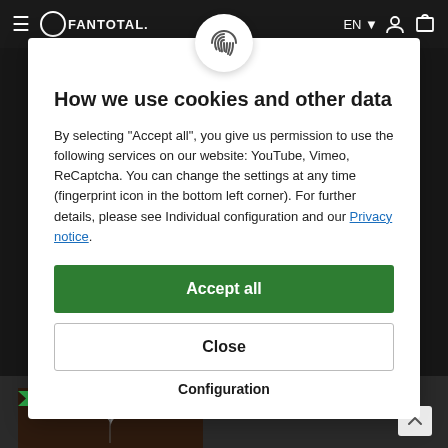[Figure (screenshot): Website navbar with hamburger menu, FANTOTAL logo, EN language selector, user icon and cart icon on dark background]
How we use cookies and other data
By selecting "Accept all", you give us permission to use the following services on our website: YouTube, Vimeo, ReCaptcha. You can change the settings at any time (fingerprint icon in the bottom left corner). For further details, please see Individual configuration and our Privacy notice.
Accept all
Close
Configuration